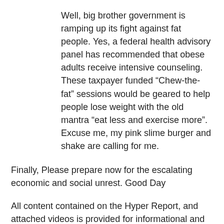Well, big brother government is ramping up its fight against fat people. Yes, a federal health advisory panel has recommended that obese adults receive intensive counseling. These taxpayer funded “Chew-the-fat” sessions would be geared to help people lose weight with the old mantra “eat less and exercise more”.  Excuse me, my pink slime burger and shake are calling for me.
Finally, Please prepare now for the escalating economic and social unrest. Good Day
All content contained on the Hyper Report, and attached videos is provided for informational and entertainment purposes only. ‘Hyper Report’ assumes all information to